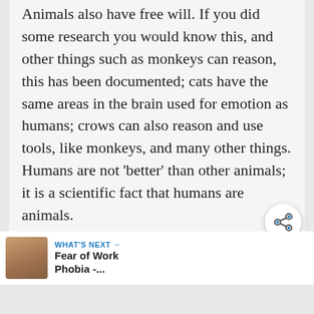Animals also have free will. If you did some research you would know this, and other things such as monkeys can reason, this has been documented; cats have the same areas in the brain used for emotion as humans; crows can also reason and use tools, like monkeys, and many other things. Humans are not 'better' than other animals; it is a scientific fact that humans are animals.
Reply
[Figure (other): Share button icon (circular white button with share/network icon)]
WHAT'S NEXT → Fear of Work Phobia -...